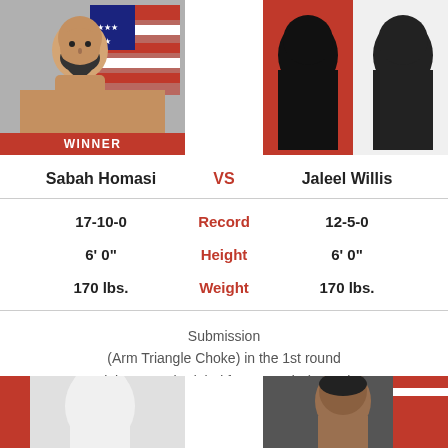[Figure (photo): Fighter photo - Sabah Homasi with US flag background, WINNER banner below]
[Figure (photo): Fighter photo - Jaleel Willis silhouette on red/white background]
Sabah Homasi VS Jaleel Willis
|  | Stat |  |
| --- | --- | --- |
| 17-10-0 | Record | 12-5-0 |
| 6' 0" | Height | 6' 0" |
| 170 lbs. | Weight | 170 lbs. |
Submission
(Arm Triangle Choke) in the 1st round
Fight was scheduled for 3 rounds (5x5x5)
[Figure (photo): Bottom left fighter photo partial]
[Figure (photo): Bottom right fighter photo partial]